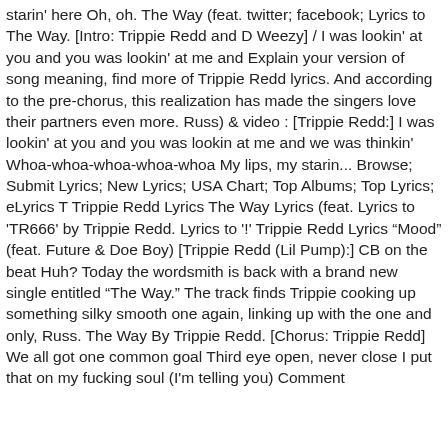starin' here Oh, oh. The Way (feat. twitter; facebook; Lyrics to The Way. [Intro: Trippie Redd and D Weezy] / I was lookin' at you and you was lookin' at me and Explain your version of song meaning, find more of Trippie Redd lyrics. And according to the pre-chorus, this realization has made the singers love their partners even more. Russ) & video : [Trippie Redd:] I was lookin' at you and you was lookin at me and we was thinkin' Whoa-whoa-whoa-whoa-whoa My lips, my starin... Browse; Submit Lyrics; New Lyrics; USA Chart; Top Albums; Top Lyrics; eLyrics T Trippie Redd Lyrics The Way Lyrics (feat. Lyrics to 'TR666' by Trippie Redd. Lyrics to '!' Trippie Redd Lyrics "Mood" (feat. Future & Doe Boy) [Trippie Redd (Lil Pump):] CB on the beat Huh? Today the wordsmith is back with a brand new single entitled "The Way." The track finds Trippie cooking up something silky smooth one again, linking up with the one and only, Russ. The Way By Trippie Redd. [Chorus: Trippie Redd] We all got one common goal Third eye open, never close I put that on my fucking soul (I'm telling you) Comment